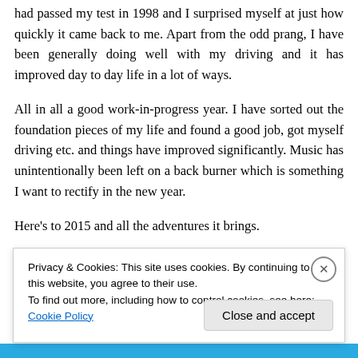had passed my test in 1998 and I surprised myself at just how quickly it came back to me. Apart from the odd prang, I have been generally doing well with my driving and it has improved day to day life in a lot of ways.
All in all a good work-in-progress year. I have sorted out the foundation pieces of my life and found a good job, got myself driving etc. and things have improved significantly. Music has unintentionally been left on a back burner which is something I want to rectify in the new year.
Here's to 2015 and all the adventures it brings.
Privacy & Cookies: This site uses cookies. By continuing to use this website, you agree to their use.
To find out more, including how to control cookies, see here: Cookie Policy
Close and accept